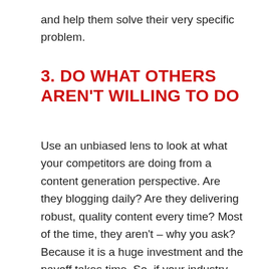and help them solve their very specific problem.
3. DO WHAT OTHERS AREN'T WILLING TO DO
Use an unbiased lens to look at what your competitors are doing from a content generation perspective. Are they blogging daily? Are they delivering robust, quality content every time? Most of the time, they aren't – why you ask? Because it is a huge investment and the payoff takes time. So, if your industry only has 1 or 2 competitors who are really rock'n the content – there is